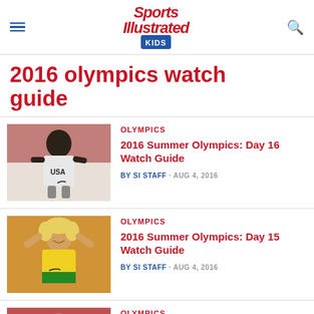Sports Illustrated Kids
2016 olympics watch guide
OLYMPICS
2016 Summer Olympics: Day 16 Watch Guide
BY SI STAFF · AUG 4, 2016
[Figure (photo): Basketball player in USA jersey]
OLYMPICS
2016 Summer Olympics: Day 15 Watch Guide
BY SI STAFF · AUG 4, 2016
[Figure (photo): Soccer player in Brazil yellow jersey celebrating]
OLYMPICS